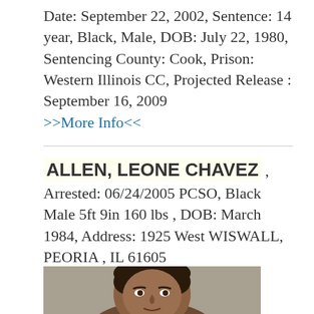Date: September 22, 2002, Sentence: 14 year, Black, Male, DOB: July 22, 1980, Sentencing County: Cook, Prison: Western Illinois CC, Projected Release : September 16, 2009
>>More Info<<
ALLEN, LEONE CHAVEZ , Arrested: 06/24/2005 PCSO, Black Male 5ft 9in 160 lbs , DOB: March 1984, Address: 1925 West WISWALL, PEORIA , IL 61605
[Figure (photo): Mugshot photo of Leone Chavez Allen, cropped showing head and upper neck area]